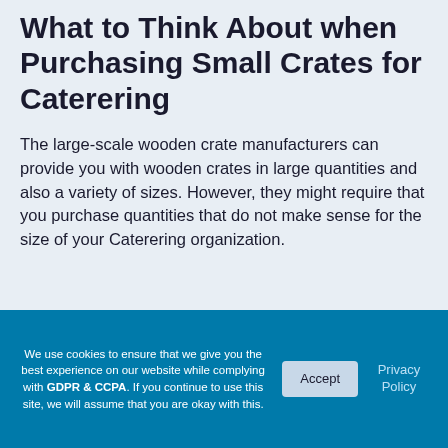What to Think About when Purchasing Small Crates for Caterering
The large-scale wooden crate manufacturers can provide you with wooden crates in large quantities and also a variety of sizes. However, they might require that you purchase quantities that do not make sense for the size of your Caterering organization.
We use cookies to ensure that we give you the best experience on our website while complying with GDPR & CCPA. If you continue to use this site, we will assume that you are okay with this.